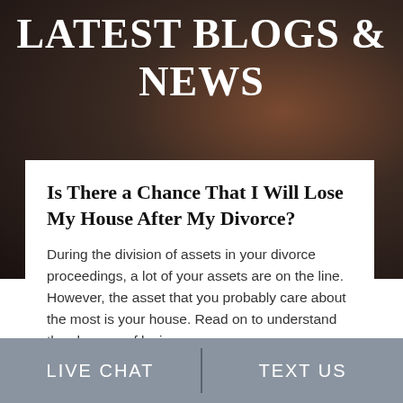LATEST BLOGS & NEWS
Is There a Chance That I Will Lose My House After My Divorce?
During the division of assets in your divorce proceedings, a lot of your assets are on the line. However, the asset that you probably care about the most is your house. Read on to understand the chances of losing your...
READ MORE
LIVE CHAT   TEXT US